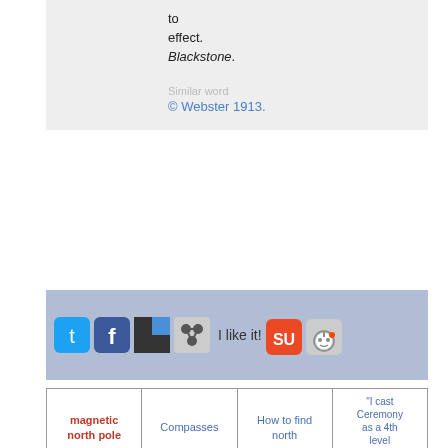to effect. Blackstone.
© Webster 1913.
[Figure (screenshot): Social sharing icons: Twitter, Facebook, Delicious, social network icon, StumbleUpon, Reddit, and 'I like it!' text]
| magnetic north pole | Compasses | How to find north | "I cast Ceremony as a 4th level Druid" |
| The ten essentials of hiking | Best Math Books Ever Written | How to locate Polaris, the North Star | Azimuth |
| cardinal point | Collision avoidance technique | School Supplies | Ancient of Days |
|  |  |  |  |